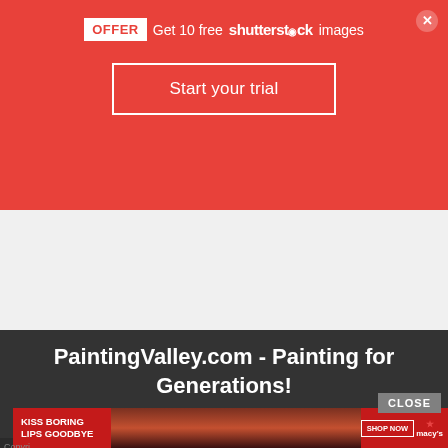[Figure (screenshot): Red Shutterstock promotional banner with OFFER badge, 'Get 10 free shutterstock images' text, and 'Start your trial' button]
PaintingValley.com - Painting for Generations!
Like us on Facebook
CLOSE
[Figure (screenshot): Macy's advertisement: KISS BORING LIPS GOODBYE with SHOP NOW button and Macy's star logo]
Copyri